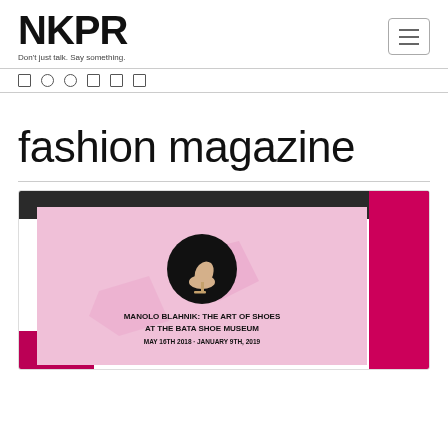NKPR
Don't just talk. Say something.
fashion magazine
[Figure (photo): Promotional image for Manolo Blahnik: The Art of Shoes at the Bata Shoe Museum, May 16th 2018 - January 9th, 2019. Pink background with high-heel shoe icon in a black circle, text overlay with event details.]